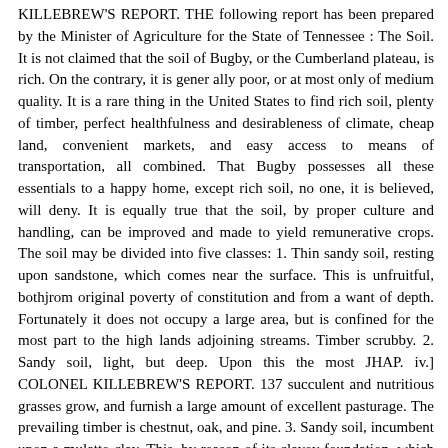KILLEBREW'S REPORT. THE following report has been prepared by the Minister of Agriculture for the State of Tennessee : The Soil. It is not claimed that the soil of Bugby, or the Cumberland plateau, is rich. On the contrary, it is generally poor, or at most only of medium quality. It is a rare thing in the United States to find rich soil, plenty of timber, perfect healthfulness and desirableness of climate, cheap land, convenient markets, and easy access to means of transportation, all combined. That Bugby possesses all these essentials to a happy home, except rich soil, no one, it is believed, will deny. It is equally true that the soil, by proper culture and handling, can be improved and made to yield remunerative crops. The soil may be divided into five classes: 1. Thin sandy soil, resting upon sandstone, which comes near the surface. This is unfruitful, bothjrom original poverty of constitution and from a want of depth. Fortunately it does not occupy a large area, but is confined for the most part to the high lands adjoining streams. Timber scrubby. 2. Sandy soil, light, but deep. Upon this the most JHAP. iv.] COLONEL KILLEBREW'S REPORT. 137 succulent and nutritious grasses grow, and furnish a large amount of excellent pasturage. The prevailing timber is chestnut, oak, and pine. 3. Sandy soil, incumbent upon a mulatto clay. This, by reason of its clayey foundation, which enables it to catch and preserve fertilising material, is the best of all the upland soils of the mountain, and covers by far the largest area, especially on the lands belonging to the Rugby colony. It is naturally fertile